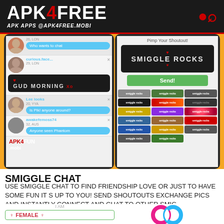APK4FREE — APK APPS @APK4FREE.MOBI
[Figure (screenshot): Two mobile phone screenshots of Smiggle Chat app. Left phone shows chat list with messages: 'Who wants to chat', 'GUD MORNING' on dark background, 'Is Pik! anyone around?', 'Anyone seen Phantom'. Right phone shows 'Pimp Your Shoutout!' screen with 'SMIGGLE ROCKS' styled text and Send button with style grid below.]
SMIGGLE CHAT
USE SMIGGLE CHAT TO FIND FRIENDSHIP LOVE OR JUST TO HAVE SOME FUN IT S UP TO YOU! SEND SHOUTOUTS EXCHANGE PICS AND INSTANTLY CONNECT AND CHAT TO OTHER SMIG..
[Figure (screenshot): Bottom portion of app screenshots showing 'I AM' label with FEMALE option, 'LOOKING FOR' label with MALE option on left side, and Smiggle Chat interlocking rings logo (pink and blue) on right side.]